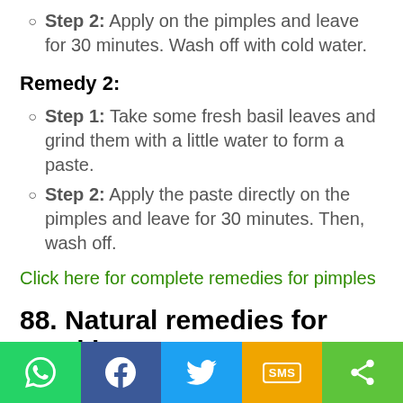Step 2: Apply on the pimples and leave for 30 minutes. Wash off with cold water.
Remedy 2:
Step 1: Take some fresh basil leaves and grind them with a little water to form a paste.
Step 2: Apply the paste directly on the pimples and leave for 30 minutes. Then, wash off.
Click here for complete remedies for pimples
88. Natural remedies for Freckles
Social share bar: WhatsApp, Facebook, Twitter, SMS, Share